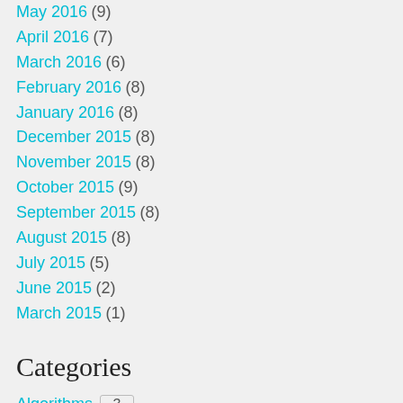May 2016 (9)
April 2016 (7)
March 2016 (6)
February 2016 (8)
January 2016 (8)
December 2015 (8)
November 2015 (8)
October 2015 (9)
September 2015 (8)
August 2015 (8)
July 2015 (5)
June 2015 (2)
March 2015 (1)
Categories
Algorithms 3
Android 2